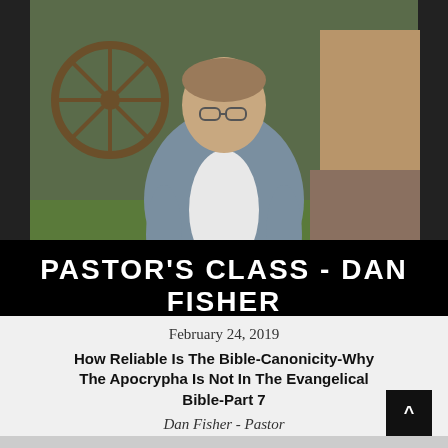[Figure (photo): Portrait photo of Dan Fisher, a middle-aged man with glasses wearing a gray blazer and white shirt, sitting outdoors with rustic background including a wagon wheel and stone wall.]
PASTOR'S CLASS - DAN FISHER
February 24, 2019
How Reliable Is The Bible-Canonicity-Why The Apocrypha Is Not In The Evangelical Bible-Part 7
Dan Fisher - Pastor